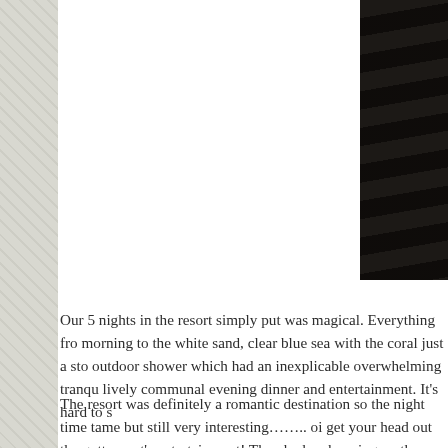[Figure (photo): Dark interior photo, appears to show wooden slats or blinds in very low light, mostly black]
Our 5 nights in the resort simply put was magical. Everything fro morning to the white sand, clear blue sea with the coral just a sto outdoor shower which had an inexplicable overwhelming tranqu lively communal evening dinner and entertainment. It's hard to s
The resort was definitely a romantic destination so the night time tame but still very interesting…….. oi get your head out the gutt resort's entertainment! They had crab racing on the first night, ye round the beach for the fastest crab who would win us $20 at the round, as if I was going to touch a crab… eww… it was all to no our selection did not even move from the starting point! The Fiji the other hand, you could feel the energy from the local village